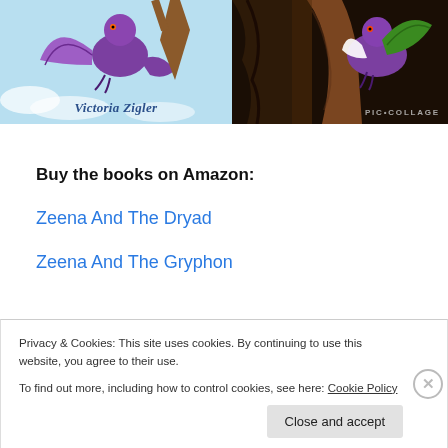[Figure (illustration): Two fantasy illustrations side by side showing a purple dragon/creature character. Left image shows a purple winged creature against a blue sky background with author name 'Victoria Zigler'. Right image shows a similar purple creature in a dark forest/cave setting with 'PIC•COLLAGE' watermark.]
Buy the books on Amazon:
Zeena And The Dryad
Zeena And The Gryphon
Privacy & Cookies: This site uses cookies. By continuing to use this website, you agree to their use.
To find out more, including how to control cookies, see here: Cookie Policy